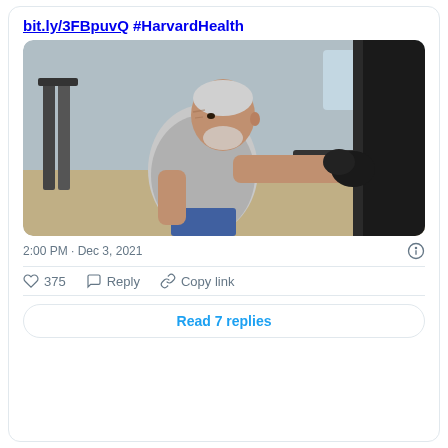bit.ly/3FBpuvQ #HarvardHealth
[Figure (photo): Elderly man with white hair and beard wearing a grey t-shirt and blue shorts, punching a black heavy bag in a gym with boxing gloves. Gym equipment visible in background.]
2:00 PM · Dec 3, 2021
375   Reply   Copy link
Read 7 replies